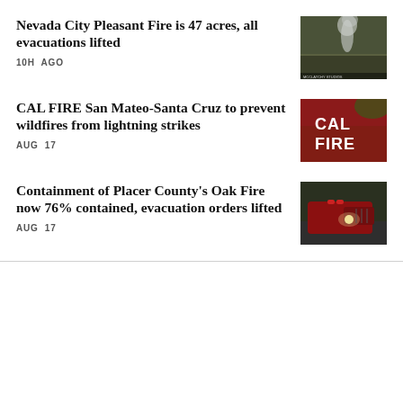Nevada City Pleasant Fire is 47 acres, all evacuations lifted
10H AGO
[Figure (photo): Smoke rising from hillside fire, aerial or distant view showing smoke column against dark landscape]
CAL FIRE San Mateo-Santa Cruz to prevent wildfires from lightning strikes
AUG 17
[Figure (photo): Close-up of red CAL FIRE truck door with white CAL FIRE lettering]
Containment of Placer County's Oak Fire now 76% contained, evacuation orders lifted
AUG 17
[Figure (photo): Red fire engine with lights on driving on road through wooded area]